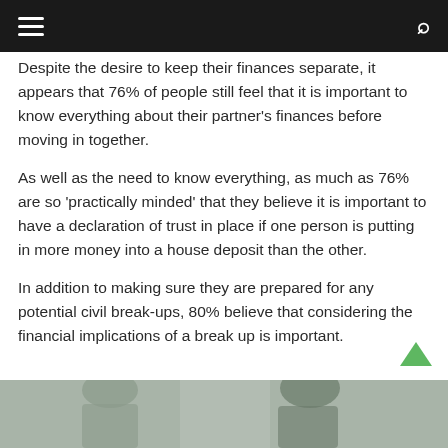≡  🔍
Despite the desire to keep their finances separate, it appears that 76% of people still feel that it is important to know everything about their partner's finances before moving in together.
As well as the need to know everything, as much as 76% are so 'practically minded' that they believe it is important to have a declaration of trust in place if one person is putting in more money into a house deposit than the other.
In addition to making sure they are prepared for any potential civil break-ups, 80% believe that considering the financial implications of a break up is important.
[Figure (photo): Photo of two people, partially visible at the bottom of the page]